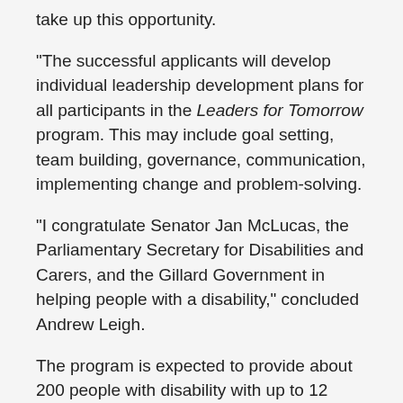take up this opportunity.
“The successful applicants will develop individual leadership development plans for all participants in the Leaders for Tomorrow program. This may include goal setting, team building, governance, communication, implementing change and problem-solving.
“I congratulate Senator Jan McLucas, the Parliamentary Secretary for Disabilities and Carers, and the Gillard Government in helping people with a disability,” concluded Andrew Leigh.
The program is expected to provide about 200 people with disability with up to 12 months intensive leadership support, including a mentorship program where people work with mentors in their field of industry.